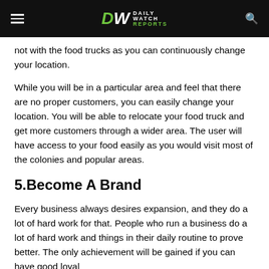Daily Watch Reports
not with the food trucks as you can continuously change your location.
While you will be in a particular area and feel that there are no proper customers, you can easily change your location. You will be able to relocate your food truck and get more customers through a wider area. The user will have access to your food easily as you would visit most of the colonies and popular areas.
5.Become A Brand
Every business always desires expansion, and they do a lot of hard work for that. People who run a business do a lot of hard work and things in their daily routine to prove better. The only achievement will be gained if you can have good loyal